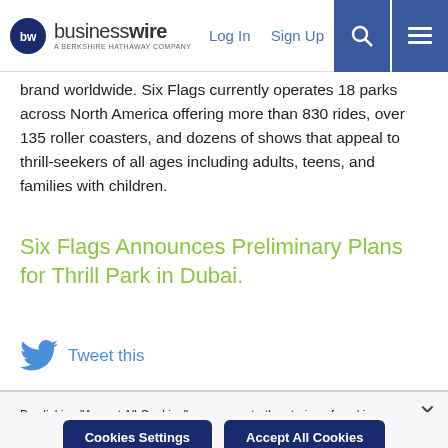businesswire — A BERKSHIRE HATHAWAY COMPANY | Log In | Sign Up
brand worldwide. Six Flags currently operates 18 parks across North America offering more than 830 rides, over 135 roller coasters, and dozens of shows that appeal to thrill-seekers of all ages including adults, teens, and families with children.
Six Flags Announces Preliminary Plans for Thrill Park in Dubai.
Tweet this
By clicking "Accept All Cookies", you agree to the storing of cookies on your device to enhance site navigation, analyze site usage, and assist in our marketing efforts. Cookie Policy
Cookies Settings | Accept All Cookies